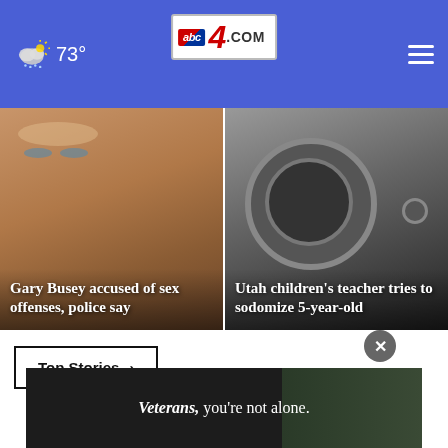abc4.com — 73° weather, navigation header
[Figure (photo): Close-up of Gary Busey's face with blue eyes and wrinkled skin]
Gary Busey accused of sex offenses, police say
[Figure (photo): Close-up black and white image of a metal shower drain or fixture]
Utah children's teacher tries to sodomize 5-year-old
Top Stories ›
[Figure (photo): Advertisement banner: Veterans, you're not alone. Military personnel image.]